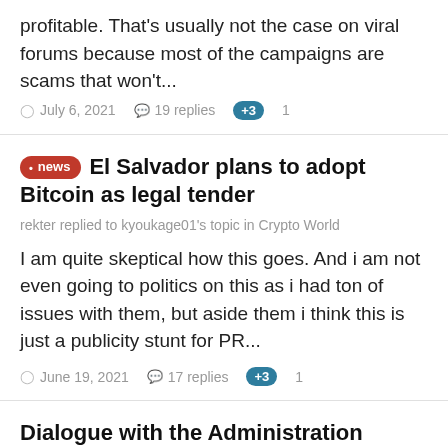profitable. That's usually not the case on viral forums because most of the campaigns are scams that won't...
July 6, 2021   19 replies   +3  1
El Salvador plans to adopt Bitcoin as legal tender
rekter replied to kyoukage01's topic in Crypto World
I am quite skeptical how this goes. And i am not even going to politics on this as i had ton of issues with them, but aside them i think this is just a publicity stunt for PR...
June 19, 2021   17 replies   +3  1
Dialogue with the Administration
rekter replied to Desais's topic in About Forum
Hi, is there a reason that the forum didn't start advertising at all? I mean from an outsider it seems like fast solution